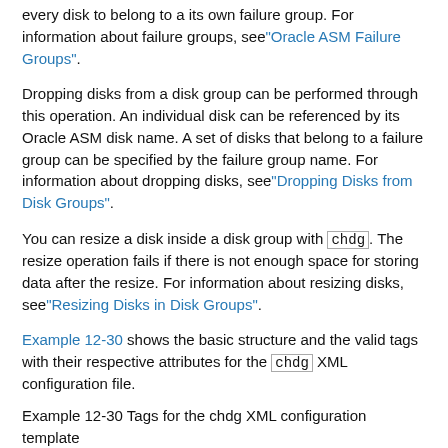every disk to belong to a its own failure group. For information about failure groups, see "Oracle ASM Failure Groups".
Dropping disks from a disk group can be performed through this operation. An individual disk can be referenced by its Oracle ASM disk name. A set of disks that belong to a failure group can be specified by the failure group name. For information about dropping disks, see "Dropping Disks from Disk Groups".
You can resize a disk inside a disk group with chdg. The resize operation fails if there is not enough space for storing data after the resize. For information about resizing disks, see "Resizing Disks in Disk Groups".
Example 12-30 shows the basic structure and the valid tags with their respective attributes for the chdg XML configuration file.
Example 12-30 Tags for the chdg XML configuration template
[Figure (screenshot): Code box with upward arrow icon and monospace code text: <chdg> update disk clause (add/delete]